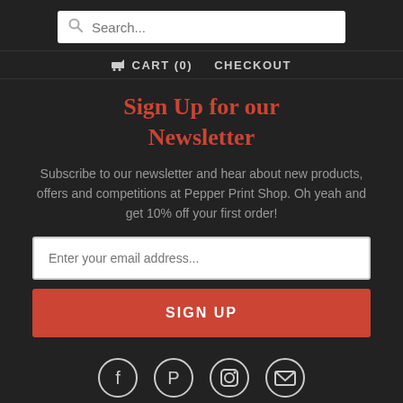Search...
CART (0)   CHECKOUT
Sign Up for our Newsletter
Subscribe to our newsletter and hear about new products, offers and competitions at Pepper Print Shop. Oh yeah and get 10% off your first order!
Enter your email address...
SIGN UP
[Figure (illustration): Four social media icons: Facebook, Pinterest, Instagram, Email — circular outlines on dark background]